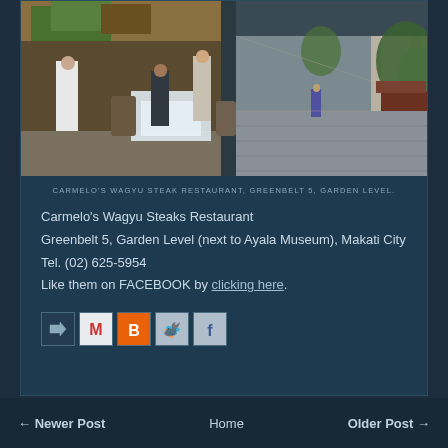[Figure (photo): Exterior and interior view of Carmelo's Wagyu Steak Restaurant at Greenbelt 5, Garden Level, showing waitstaff, dining tables, and an outdoor corridor with trees]
CARMELO'S WAGYU STEAK RESTAURANT, GREENBELT 5, GARDEN LEVEL.
Carmelo's Wagyu Steaks Restaurant
Greenbelt 5, Garden Level (next to Ayala Museum), Makati City
Tel. (02) 625-5954
Like them on FACEBOOK by clicking here.
[Figure (other): Social media share/email icons: forward arrow, Gmail M, Blogger B, Twitter bird, Facebook F]
← Newer Post    Home    Older Post →